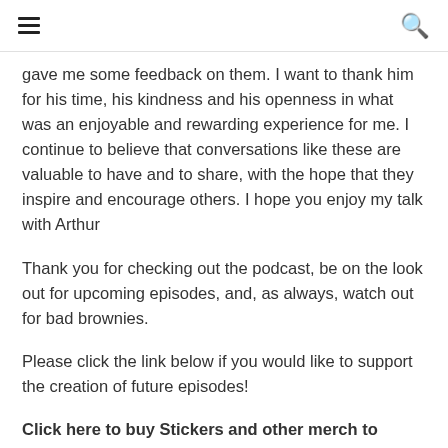[hamburger menu icon] [search icon]
gave me some feedback on them. I want to thank him for his time, his kindness and his openness in what was an enjoyable and rewarding experience for me. I continue to believe that conversations like these are valuable to have and to share, with the hope that they inspire and encourage others. I hope you enjoy my talk with Arthur
Thank you for checking out the podcast, be on the look out for upcoming episodes, and, as always, watch out for bad brownies.
Please click the link below if you would like to support the creation of future episodes!
Click here to buy Stickers and other merch to